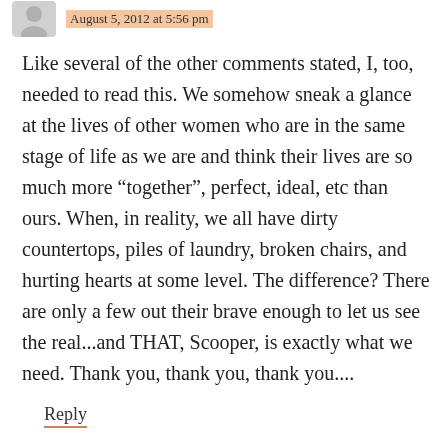August 5, 2012 at 5:56 pm
Like several of the other comments stated, I, too, needed to read this. We somehow sneak a glance at the lives of other women who are in the same stage of life as we are and think their lives are so much more “together”, perfect, ideal, etc than ours. When, in reality, we all have dirty countertops, piles of laundry, broken chairs, and hurting hearts at some level. The difference? There are only a few out their brave enough to let us see the real...and THAT, Scooper, is exactly what we need. Thank you, thank you, thank you....
Reply